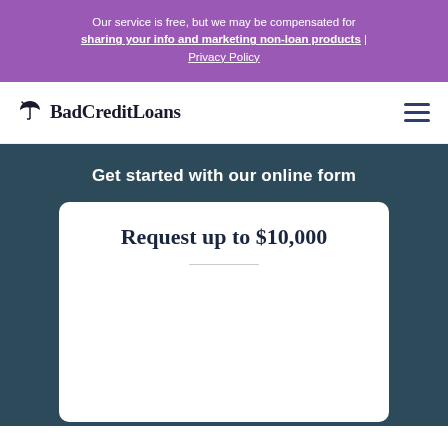Our service is free, but we may be compensated for sharing your info and marketing non-loan products | Privacy Policy
[Figure (logo): BadCreditLoans logo with umbrella icon and bold serif text]
Get started with our online form
Request up to $10,000